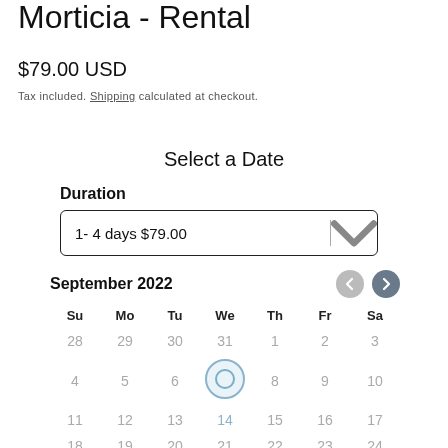Morticia - Rental
$79.00 USD
Tax included. Shipping calculated at checkout.
Select a Date
Duration
1- 4 days $79.00
[Figure (other): Calendar showing September 2022 with navigation arrows, day headers Su Mo Tu We Th Fr Sa, and dates 28-24 over 5 weeks, with today circle on date 7]
September 2022